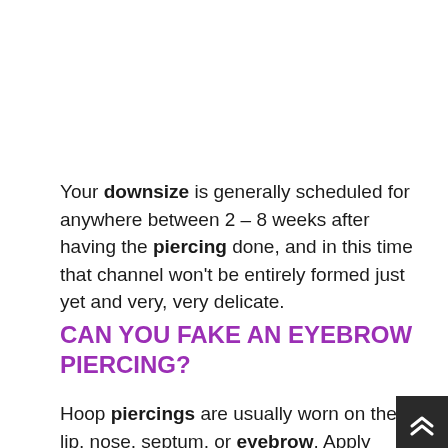Your downsize is generally scheduled for anywhere between 2 – 8 weeks after having the piercing done, and in this time that channel won't be entirely formed just yet and very, very delicate.
CAN YOU FAKE AN EYEBROW PIERCING?
Hoop piercings are usually worn on the lip, nose, septum, or eyebrow. Apply eyelash glue to the ends. ... Eyelash glue is the best adhesive for fake facial piercings because it is